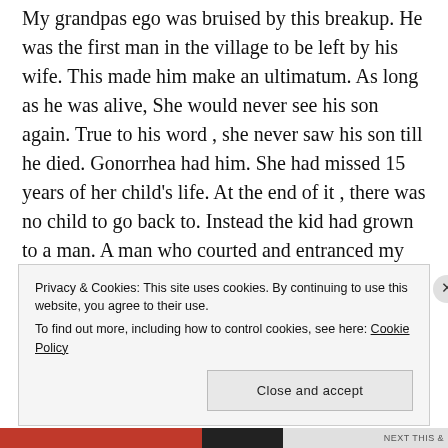My grandpas ego was bruised by this breakup. He was the first man in the village to be left by his wife. This made him make an ultimatum. As long as he was alive, She would never see his son again. True to his word , she never saw his son till he died. Gonorrhea had him. She had missed 15 years of her child's life. At the end of it , there was no child to go back to. Instead the kid had grown to a man. A man who courted and entranced my mum into marriage, but not before making her pregnant. Theirs was a wild passion that died quite fast.
Privacy & Cookies: This site uses cookies. By continuing to use this website, you agree to their use.
To find out more, including how to control cookies, see here: Cookie Policy